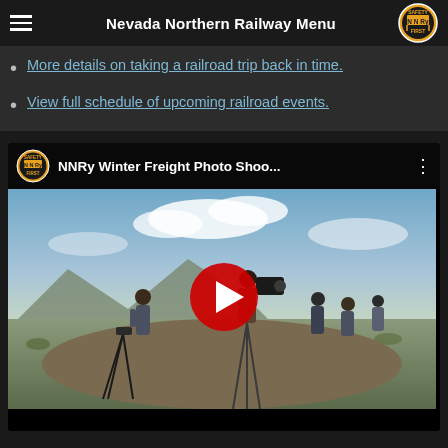Nevada Northern Railway Menu
More details on taking a railroad trip back in time.
View full schedule of upcoming railroad events.
[Figure (screenshot): YouTube video thumbnail for 'NNRy Winter Freight Photo Shoo...' showing photographers with tripods and cameras on a hillside in a desert landscape with mountains and clouds. A red play button is centered over the image.]
Winter Photo Shoot
The Nevada Northern Railway hosts a Winter Steam Spectacular